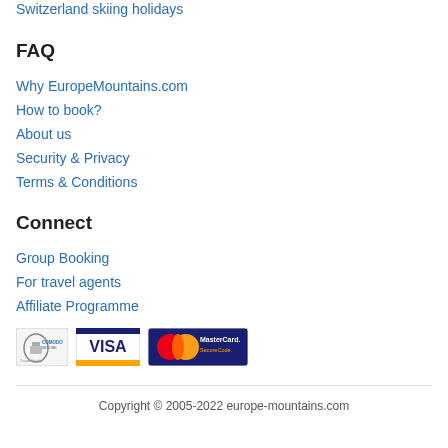Switzerland skiing holidays
FAQ
Why EuropeMountains.com
How to book?
About us
Security & Privacy
Terms & Conditions
Connect
Group Booking
For travel agents
Affiliate Programme
[Figure (logo): Payment badges: Trusted Secure, VISA, MasterCard SecureCode]
Copyright © 2005-2022 europe-mountains.com